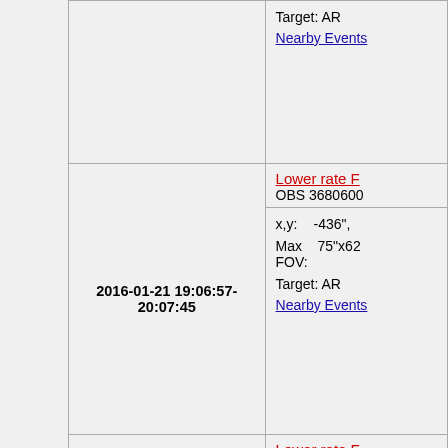| Time/Image | Details |
| --- | --- |
|  | Target: AR
Nearby Events |
| 2016-01-21 19:06:57-20:07:45 | Lower rate F
OBS 3680600
x,y: -436",
Max FOV: 75"x62
Target: AR
Nearby Events |
| 2016-01-21 17:30:44-18:29:45 | Lower rate F
OBS 3680600
x,y: -449",
Max FOV: 75"x62
Target: AR |